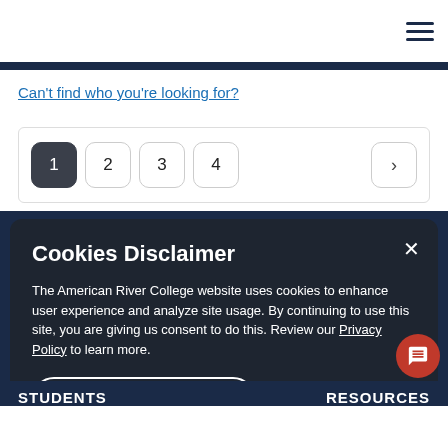Can't find who you're looking for?
Pagination: 1 2 3 4 >
Cookies Disclaimer
The American River College website uses cookies to enhance user experience and analyze site usage. By continuing to use this site, you are giving us consent to do this. Review our Privacy Policy to learn more.
ACCEPT AND CLOSE
STUDENTS   RESOURCES